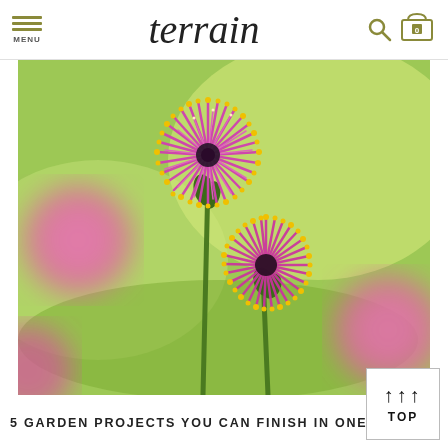terrain — MENU | terrain logo | search | cart 0
[Figure (photo): Close-up photograph of two tall pink/magenta spiky globe flowers (Allium or similar) with yellow-tipped stamens, against a soft blurred green background with more pink flowers out of focus.]
5 GARDEN PROJECTS YOU CAN FINISH IN ONE EVEN...